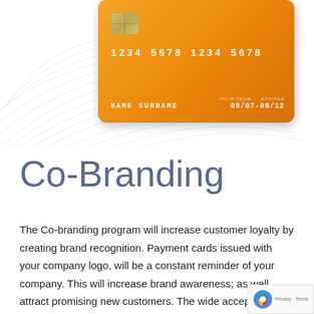[Figure (illustration): Orange co-branded credit card showing number 1234 5678 1234 5678, NAME SURNAME, dates 08/07-08/12, with decorative arc lines in background]
Co-Branding
The Co-branding program will increase customer loyalty by creating brand recognition. Payment cards issued with your company logo, will be a constant reminder of your company. This will increase brand awareness; as well attract promising new customers. The wide acceptance and security of payment cards, as well as the advanced